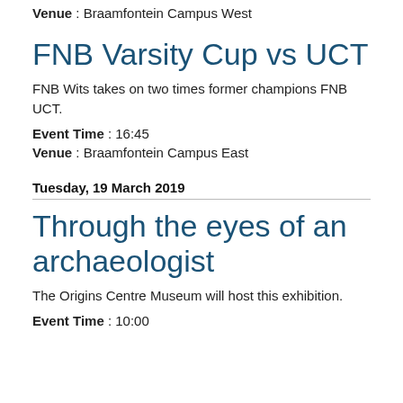Venue : Braamfontein Campus West
FNB Varsity Cup vs UCT
FNB Wits takes on two times former champions FNB UCT.
Event Time : 16:45
Venue : Braamfontein Campus East
Tuesday, 19 March 2019
Through the eyes of an archaeologist
The Origins Centre Museum will host this exhibition.
Event Time : 10:00